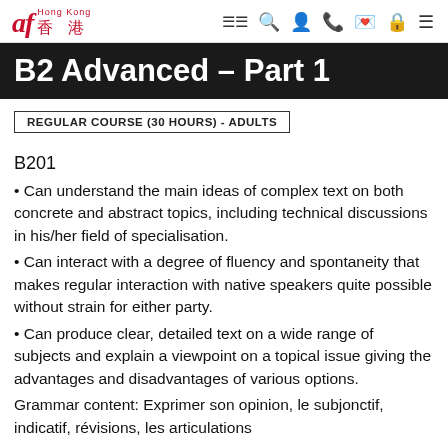af Hong Kong 香港
B2 Advanced – Part 1
REGULAR COURSE (30 HOURS) - ADULTS
B201
Can understand the main ideas of complex text on both concrete and abstract topics, including technical discussions in his/her field of specialisation.
Can interact with a degree of fluency and spontaneity that makes regular interaction with native speakers quite possible without strain for either party.
Can produce clear, detailed text on a wide range of subjects and explain a viewpoint on a topical issue giving the advantages and disadvantages of various options.
Grammar content: Exprimer son opinion, le subjonctif, indicatif, révisions, les articulations